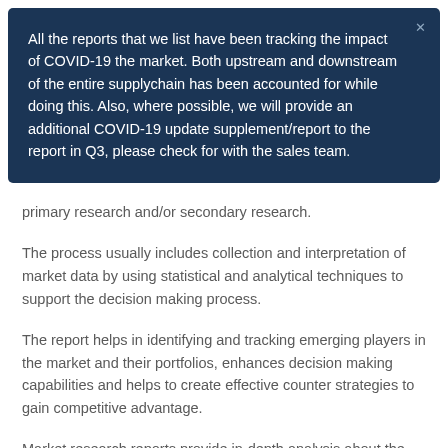All the reports that we list have been tracking the impact of COVID-19 the market. Both upstream and downstream of the entire supplychain has been accounted for while doing this. Also, where possible, we will provide an additional COVID-19 update supplement/report to the report in Q3, please check for with the sales team.
primary research and/or secondary research.
The process usually includes collection and interpretation of market data by using statistical and analytical techniques to support the decision making process.
The report helps in identifying and tracking emerging players in the market and their portfolios, enhances decision making capabilities and helps to create effective counter strategies to gain competitive advantage.
Market research reports provide in-depth analysis about the market conditions and requirements for